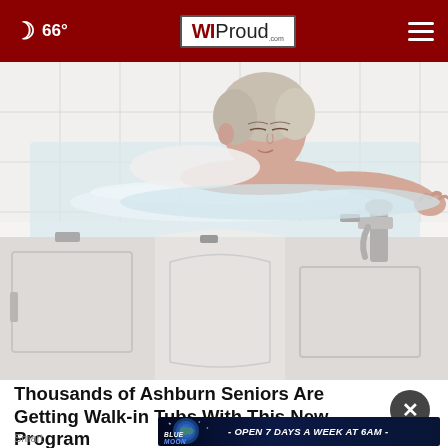🌙 66°  WIProud.com  ☰
[Figure (photo): Elderly woman with white/blonde hair relaxing in a walk-in bathtub filled with water. The tub is white with a side-entry door and chrome fixtures visible on the right side.]
Thousands of Ashburn Seniors Are Getting Walk-in Tubs With This New Program
Smart
[Figure (other): Blue Moon advertisement banner: Blue Moon logo with globe graphic and text '- OPEN 7 DAYS A WEEK AT 6AM -']